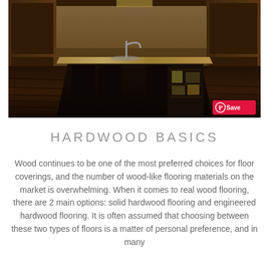[Figure (photo): Kitchen interior with dark wood island with granite countertop, open shelving with decorative items, dark hardwood floors, and wood cabinetry in background. A 'Save' button overlay is visible in the bottom right corner.]
HARDWOOD BASICS
Wood continues to be one of the most preferred choices for floor coverings, and the number of wood-like flooring materials on the market is overwhelming. When it comes to real wood flooring, there are 2 main options: solid hardwood flooring and engineered hardwood flooring. It is often assumed that choosing between these two types of floors is a matter of personal preference, and in many